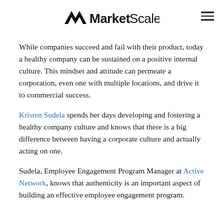MarketScale
While companies succeed and fail with their product, today a healthy company can be sustained on a positive internal culture. This mindset and attitude can permeate a corporation, even one with multiple locations, and drive it to commercial success.
Kristen Sudela spends her days developing and fostering a healthy company culture and knows that there is a big difference between having a corporate culture and actually acting on one.
Sudela, Employee Engagement Program Manager at Active Network, knows that authenticity is an important aspect of building an effective employee engagement program.